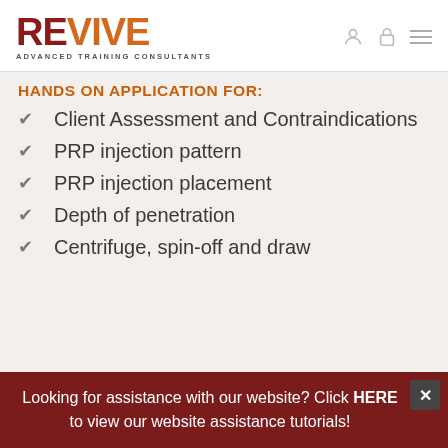REVIVE ADVANCED TRAINING CONSULTANTS
HANDS ON APPLICATION FOR:
Client Assessment and Contraindications
PRP injection pattern
PRP injection placement
Depth of penetration
Centrifuge, spin-off and draw
Looking for assistance with our website? Click HERE to view our website assistance tutorials!